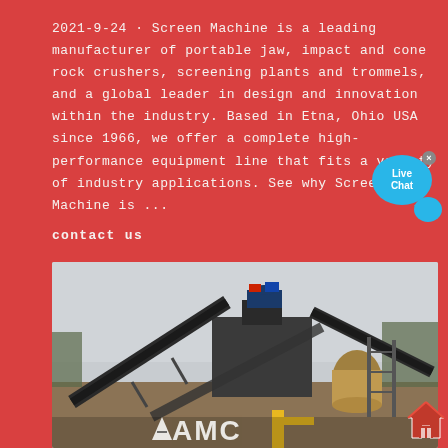2021-9-24 · Screen Machine is a leading manufacturer of portable jaw, impact and cone rock crushers, screening plants and trommels, and a global leader in design and innovation within the industry. Based in Etna, Ohio USA since 1966, we offer a complete high-performance equipment line that fits a variety of industry applications. See why Screen Machine is ...
contact us
[Figure (photo): Industrial rock crushing and screening plant equipment outdoors with conveyor belts and machinery, with AMC logo partially visible at bottom]